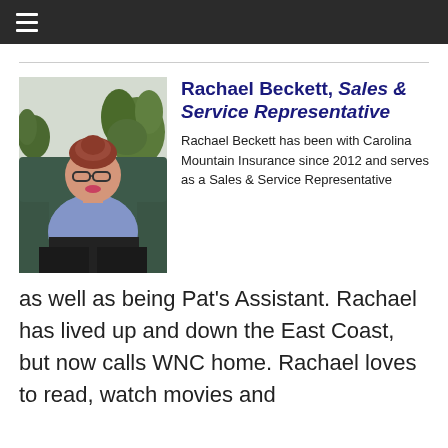≡
[Figure (photo): Woman with glasses seated in a chair, wearing a blue patterned top, with a large plant in the background]
Rachael Beckett, Sales & Service Representative
Rachael Beckett has been with Carolina Mountain Insurance since 2012 and serves as a Sales & Service Representative as well as being Pat's Assistant. Rachael has lived up and down the East Coast, but now calls WNC home. Rachael loves to read, watch movies and